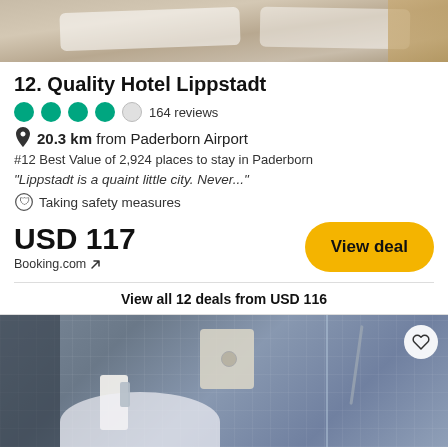[Figure (photo): Top portion of a hotel room photo showing a bed with white bedding and wooden furniture]
12. Quality Hotel Lippstadt
●●●●○ 164 reviews
📍 20.3 km from Paderborn Airport
#12 Best Value of 2,924 places to stay in Paderborn
"Lippstadt is a quaint little city. Never..."
🛡 Taking safety measures
USD 117
Booking.com ↗
View deal
View all 12 deals from USD 116
[Figure (photo): Hotel bathroom with blue mosaic tiles, shower with glass partition, white sink/basin, and toilet flush plate visible]